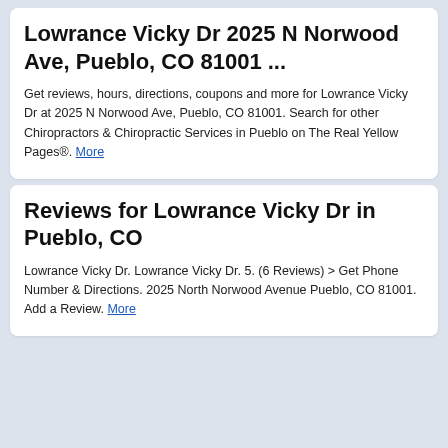Lowrance Vicky Dr 2025 N Norwood Ave, Pueblo, CO 81001 ...
Get reviews, hours, directions, coupons and more for Lowrance Vicky Dr at 2025 N Norwood Ave, Pueblo, CO 81001. Search for other Chiropractors & Chiropractic Services in Pueblo on The Real Yellow Pages®. More
Reviews for Lowrance Vicky Dr in Pueblo, CO
Lowrance Vicky Dr. Lowrance Vicky Dr. 5. (6 Reviews) > Get Phone Number & Directions. 2025 North Norwood Avenue Pueblo, CO 81001. Add a Review. More